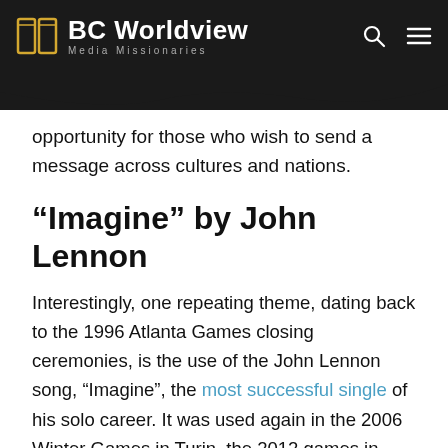BC Worldview – Media Missionaries
opportunity for those who wish to send a message across cultures and nations.
“Imagine” by John Lennon
Interestingly, one repeating theme, dating back to the 1996 Atlanta Games closing ceremonies, is the use of the John Lennon song, “Imagine”, the most successful single of his solo career. It was used again in the 2006 Winter Games in Turin, the 2012 games in London, the 2018 PyeongChang games in South Korea, and, most recently in the 2021 Summer Games in Tokyo. Savannah Guthrie made the following statement after “Imagine” was used in the PyeongChang games of 2018, “If the games were a song, ‘Imagine’ would be the song.” Aside from the whole